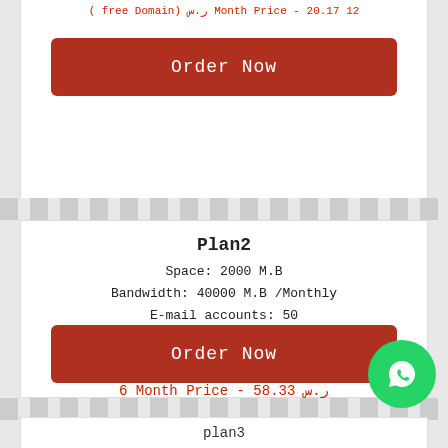(free Domain) ر.س Month Price - 20.17 12
Order Now
Plan2
Space: 2000 M.B
Bandwidth: 40000 M.B /Monthly
E-mail accounts: 50
Sub domain: 6
domain: free for one year & higher
6 Month Price - 58.33 ر.س
12 Month Price - 54.17 ر.س (free Domain)
Order Now
plan3